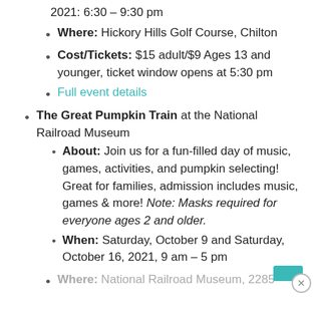2021: 6:30 – 9:30 pm
Where: Hickory Hills Golf Course, Chilton
Cost/Tickets: $15 adult/$9 Ages 13 and younger, ticket window opens at 5:30 pm
Full event details
The Great Pumpkin Train at the National Railroad Museum
About: Join us for a fun-filled day of music, games, activities, and pumpkin selecting! Great for families, admission includes music, games & more! Note: Masks required for everyone ages 2 and older.
When: Saturday, October 9 and Saturday, October 16, 2021, 9 am – 5 pm
Where: National Railroad Museum, 2285